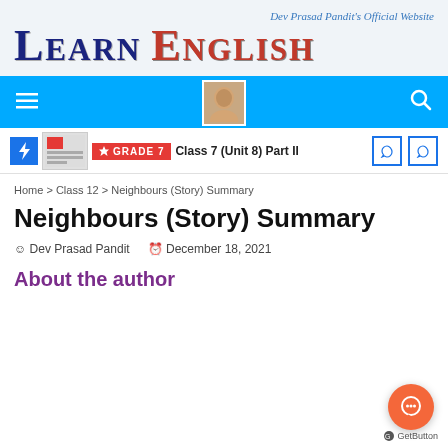Dev Prasad Pandit's Official Website
LEARN ENGLISH
[Figure (screenshot): Navigation bar with hamburger menu, avatar photo, and search icon on blue background]
[Figure (screenshot): Breadcrumb bar with flash icon, thumbnail image, GRADE 7 badge, and Class 7 (Unit 8) Part II title]
Home > Class 12 > Neighbours (Story) Summary
Neighbours (Story) Summary
Dev Prasad Pandit   December 18, 2021
About the author